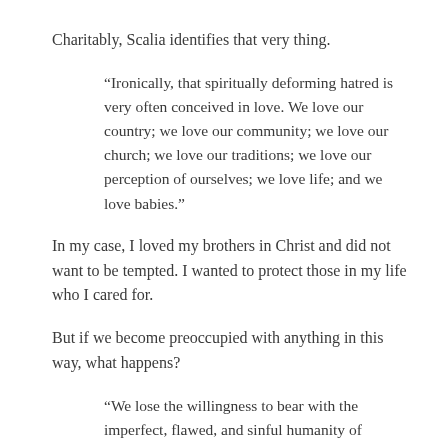Charitably, Scalia identifies that very thing.
“Ironically, that spiritually deforming hatred is very often conceived in love. We love our country; we love our community; we love our church; we love our traditions; we love our perception of ourselves; we love life; and we love babies.”
In my case, I loved my brothers in Christ and did not want to be tempted. I wanted to protect those in my life who I cared for.
But if we become preoccupied with anything in this way, what happens?
“We lose the willingness to bear with the imperfect, flawed, and sinful humanity of another in light of our own broken propensity to sin.”